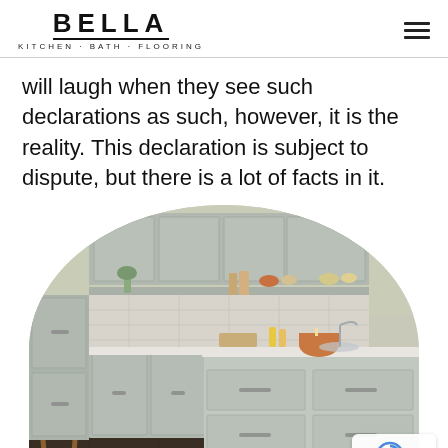BELLA KITCHEN · BATH · FLOORING
will laugh when they see such declarations as such, however, it is the reality. This declaration is subject to dispute, but there is a lot of facts in it.
[Figure (photo): Circular-cropped photo of a modern kitchen with grey cabinetry, an island, open shelving, marble backsplash, and dark hardwood floors. A wooden chair is visible on the left side.]